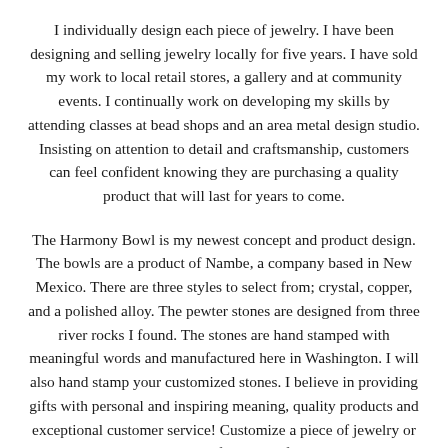I individually design each piece of jewelry. I have been designing and selling jewelry locally for five years. I have sold my work to local retail stores, a gallery and at community events. I continually work on developing my skills by attending classes at bead shops and an area metal design studio. Insisting on attention to detail and craftsmanship, customers can feel confident knowing they are purchasing a quality product that will last for years to come.
The Harmony Bowl is my newest concept and product design. The bowls are a product of Nambe, a company based in New Mexico. There are three styles to select from; crystal, copper, and a polished alloy. The pewter stones are designed from three river rocks I found. The stones are hand stamped with meaningful words and manufactured here in Washington. I will also hand stamp your customized stones. I believe in providing gifts with personal and inspiring meaning, quality products and exceptional customer service! Customize a piece of jewelry or personalize a Harmony Bowl for yourself or someone special. ”
Description: Hope is hand-stamped onto my custom designed sterling silver pendant. This is an inspirational piece intended to